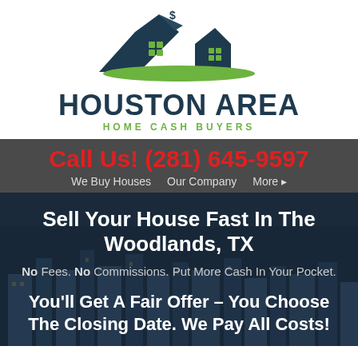[Figure (logo): Houston Area Home Cash Buyers logo — dark blue house rooftop silhouette with green accents and a dollar sign, above the company name text]
HOUSTON AREA
HOME CASH BUYERS
Call Us! (281) 645-9597
We Buy Houses   Our Company   More ▸
Sell Your House Fast In The Woodlands, TX
No Fees. No Commissions. Put More Cash In Your Pocket.
You'll Get A Fair Offer – You Choose The Closing Date. We Pay All Costs!